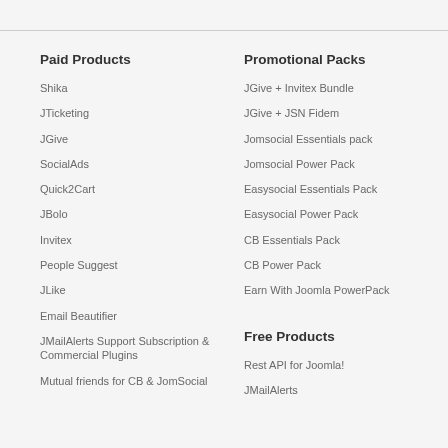Paid Products
Shika
JTicketing
JGive
SocialAds
Quick2Cart
JBolo
Invitex
People Suggest
JLike
Email Beautifier
JMailAlerts Support Subscription & Commercial Plugins
Mutual friends for CB & JomSocial
Promotional Packs
JGive + Invitex Bundle
JGive + JSN Fidem
Jomsocial Essentials pack
Jomsocial Power Pack
Easysocial Essentials Pack
Easysocial Power Pack
CB Essentials Pack
CB Power Pack
Earn With Joomla PowerPack
Free Products
Rest API for Joomla!
JMailAlerts